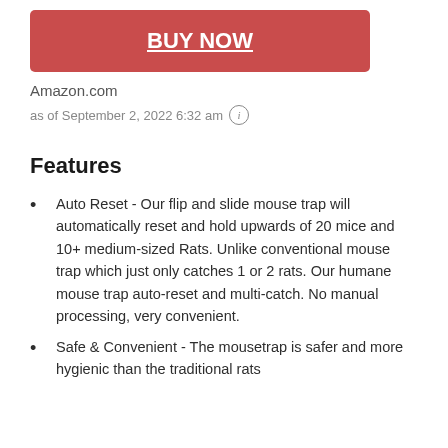[Figure (other): Red BUY NOW button with white bold underlined text]
Amazon.com
as of September 2, 2022 6:32 am ⓘ
Features
Auto Reset - Our flip and slide mouse trap will automatically reset and hold upwards of 20 mice and 10+ medium-sized Rats. Unlike conventional mouse trap which just only catches 1 or 2 rats. Our humane mouse trap auto-reset and multi-catch. No manual processing, very convenient.
Safe & Convenient - The mousetrap is safer and more hygienic than the traditional rats